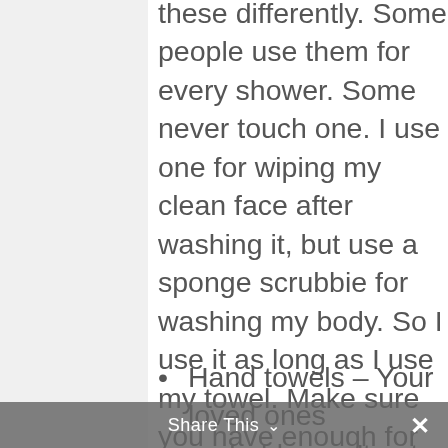these differently. Some people use them for every shower. Some never touch one. I use one for wiping my clean face after washing it, but use a sponge scrubbie for washing my body. So I use it as long as I use my towel. Make sure you have enough for everyone in your home. Store washcloths next to towels as previously discussed. Rotate.
Hand towels – Your loved ones probably won't get a new hand towel like they will a washcloth, but this will quickly become the dirtiest towel in the house. I highly
Share This ∨  ✕